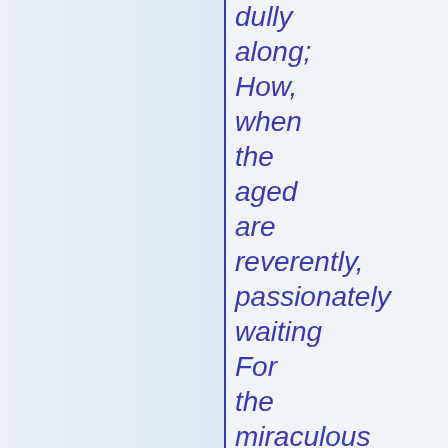dully along; How, when the aged are reverently, passionately waiting For the miraculous birth, there always must